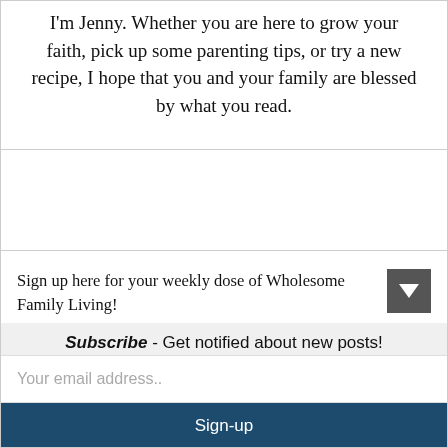I'm Jenny. Whether you are here to grow your faith, pick up some parenting tips, or try a new recipe, I hope that you and your family are blessed by what you read.
Sign up here for your weekly dose of Wholesome Family Living!
Subscribe - Get notified about new posts!
Your email address..
Sign-up